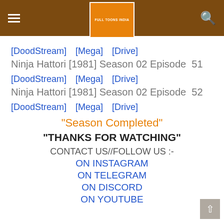Full Toons India
[DoodStream]   [Mega]   [Drive]
Ninja Hattori [1981] Season 02 Episode  51
[DoodStream]   [Mega]   [Drive]
Ninja Hattori [1981] Season 02 Episode  52
[DoodStream]   [Mega]   [Drive]
"Season Completed"
"THANKS FOR WATCHING"
CONTACT US//FOLLOW US :-
ON INSTAGRAM
ON TELEGRAM
ON DISCORD
ON YOUTUBE